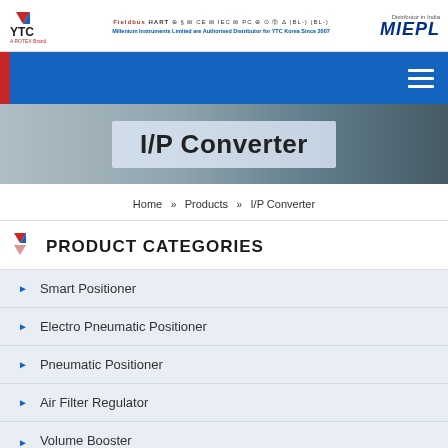YTC (A ROTEX Brand) | Millenium Instruments Limited are Authorised Distributor for YTC Korea Since 2007 | MIEPL
I/P Converter
Home » Products » I/P Converter
PRODUCT CATEGORIES
Smart Positioner
Electro Pneumatic Positioner
Pneumatic Positioner
Air Filter Regulator
Volume Booster